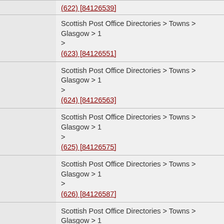|  | Path / Link |
| --- | --- |
|  | (622) [84126539] |
|  | Scottish Post Office Directories > Towns > Glasgow > 1...
>
(623) [84126551] |
|  | Scottish Post Office Directories > Towns > Glasgow > 1...
>
(624) [84126563] |
|  | Scottish Post Office Directories > Towns > Glasgow > 1...
>
(625) [84126575] |
|  | Scottish Post Office Directories > Towns > Glasgow > 1...
>
(626) [84126587] |
|  | Scottish Post Office Directories > Towns > Glasgow > 1...
>
(627) [84126599] |
|  | Scottish Post Office Directories > Towns > Glasgow > 1...
>
(628) [84126611] |
|  | Scottish Post Office Directories > Towns > Glasgow > 1...
>
(629) [84126623] |